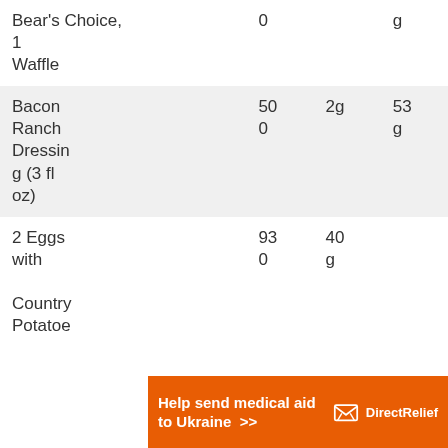| Food |  |  |  |
| --- | --- | --- | --- |
| Bear's Choice, 1 Waffle | 0 |  | g |
| Bacon Ranch Dressing (3 fl oz) | 50
0 | 2g | 53
g |
| 2 Eggs with Country Potatoe | 93
0 | 40
g |  |
[Figure (other): Direct Relief advertisement banner: orange background, white bold text 'Help send medical aid to Ukraine >>', Direct Relief logo with box icon on right]